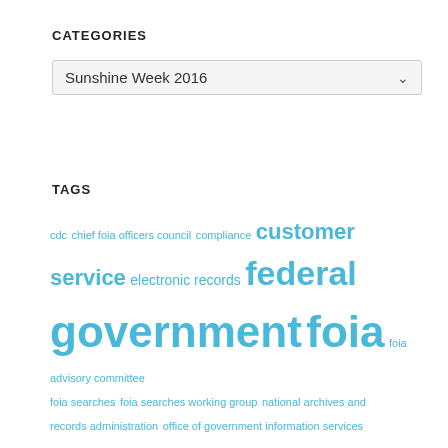CATEGORIES
Sunshine Week 2016
TAGS
cdc chief foia officers council compliance customer service electronic records federal government foia foia advisory committee foia searches foia searches working group national archives and records administration office of government information services ogis open government open meeting